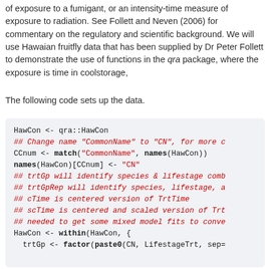of exposure to a fumigant, or an intensity-time measure of exposure to radiation. See Follett and Neven (2006) for commentary on the regulatory and scientific background. We will use Hawaian fruitfly data that has been supplied by Dr Peter Follett to demonstrate the use of functions in the qra package, where the exposure is time in coolstorage,
The following code sets up the data.
HawCon <- qra::HawCon
## Change name "CommonName" to "CN", for more c
CCnum <- match("CommonName", names(HawCon))
names(HawCon)[CCnum] <- "CN"
## trtGp will identify species & lifestage comb
## trtGpRep will identify species, lifestage, a
## cTime is centered version of TrtTime
## scTime is centered and scaled version of Trt
## needed to get some mixed model fits to conve
HawCon <- within(HawCon, {
  trtGp <- factor(paste0(CN, LifestageTrt, sep=